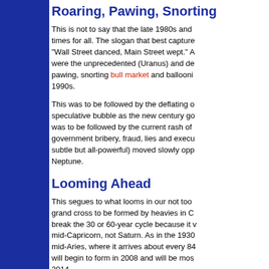Roaring, Pawing, Snorting
This is not to say that the late 1980s and times for all. The slogan that best capture "Wall Street danced, Main Street wept." A were the unprecedented (Uranus) and de pawing, snorting bull market and ballooni 1990s.
This was to be followed by the deflating o speculative bubble as the new century go was to be followed by the current rash of government bribery, fraud, lies and execu subtle but all-powerful) moved slowly opp Neptune.
Looming Ahead
This segues to what looms in our not too grand cross to be formed by heavies in C break the 30 or 60-year cycle because it mid-Capricorn, not Saturn. As in the 1930 mid-Aries, where it arrives about every 84 will begin to form in 2008 and will be mos 2014.
It will also coincide with a Maya astrologi baktun, a cycle of 5,128 of our years, due